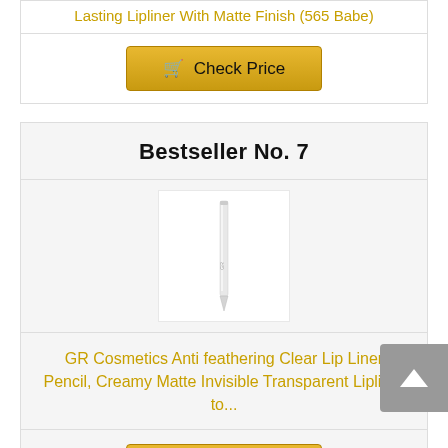Lasting Lipliner With Matte Finish (565 Babe)
Check Price
Bestseller No. 7
[Figure (photo): A white lip liner pencil product photo on white background]
GR Cosmetics Anti feathering Clear Lip Liner Pencil, Creamy Matte Invisible Transparent Lipliner to...
Check Price
Bestseller No. 8